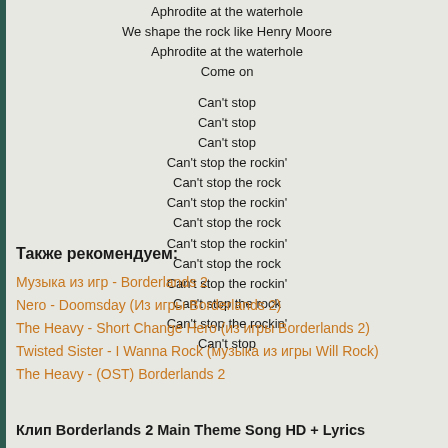Aphrodite at the waterhole
We shape the rock like Henry Moore
Aphrodite at the waterhole
Come on

Can't stop
Can't stop
Can't stop
Can't stop the rockin'
Can't stop the rock
Can't stop the rockin'
Can't stop the rock
Can't stop the rockin'
Can't stop the rock
Can't stop the rockin'
Can't stop the rock
Can't stop the rockin'
Can't stop
Также рекомендуем:
Музыка из игр - Borderlands 2
Nero - Doomsday (Из игры Borderlands 2)
The Heavy - Short Change Hero (из игры Borderlands 2)
Twisted Sister - I Wanna Rock (музыка из игры Will Rock)
The Heavy - (OST) Borderlands 2
Клип Borderlands 2 Main Theme Song HD + Lyrics